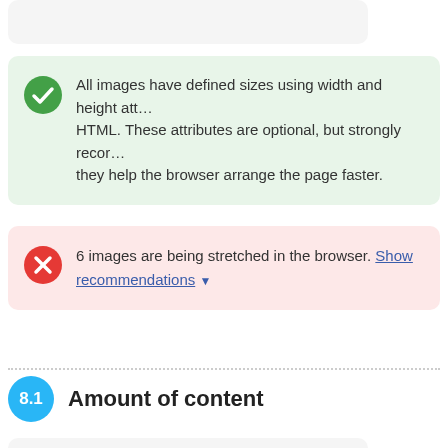[Figure (illustration): Partial grey rounded card visible at top, cropped]
All images have defined sizes using width and height attributes in HTML. These attributes are optional, but strongly recommended as they help the browser arrange the page faster.
6 images are being stretched in the browser. Show recommendations ▼
8.1  Amount of content
[Figure (other): Partial card showing 'Average words per page' with orange arc/donut chart at bottom, cropped]